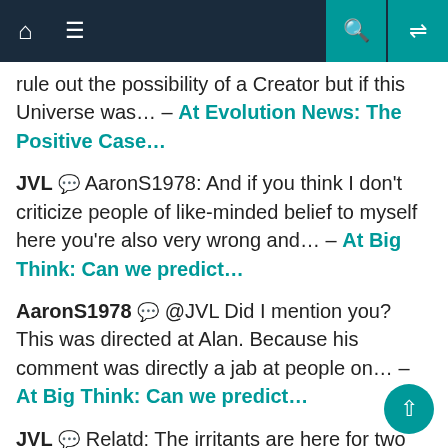Navigation bar with home, menu, search, and shuffle icons
rule out the possibility of a Creator but if this Universe was… – At Evolution News: The Positive Case…
JVL 💬 AaronS1978: And if you think I don't criticize people of like-minded belief to myself here you're also very wrong and… – At Big Think: Can we predict…
AaronS1978 💬 @JVL Did I mention you? This was directed at Alan. Because his comment was directly a jab at people on… – At Big Think: Can we predict…
JVL 💬 Relatd: The irritants are here for two reasons: The endless promotion of evolution and They enjoy being irritants. Not true… – At Big Think: Can we predict…
relatd 💬 Jerry at 9, I wish more people were aware that regarding certain 'hot button' issues, the Media is